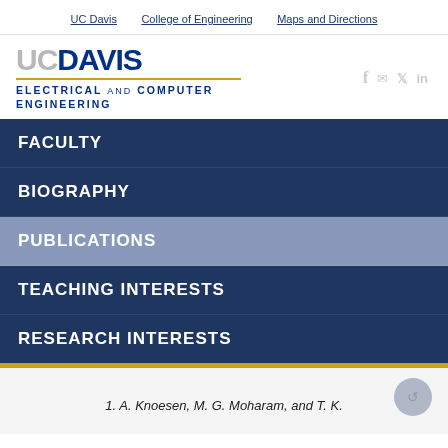UC Davis   College of Engineering   Maps and Directions
[Figure (logo): UC Davis Electrical and Computer Engineering logo with social media icons (facebook, email, twitter, linkedin)]
FACULTY
BIOGRAPHY
PUBLICATIONS
TEACHING INTERESTS
RESEARCH INTERESTS
1. A. Knoesen, M. G. Moharam, and T. K.